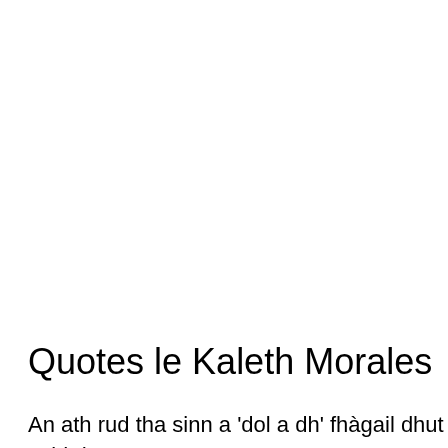Quotes le Kaleth Morales
An ath rud tha sinn a 'dol a dh' fhàgail dhut cuid de